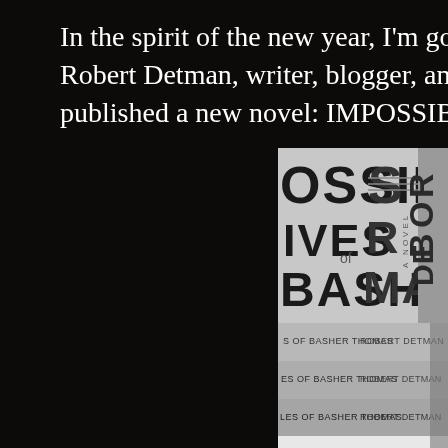In the spirit of the new year, I'm going to try someth... Robert Detman, writer, blogger, and long-time on-li... published a new novel: IMPOSSIBLE LIVES OF B...
[Figure (photo): A black and white photograph of multiple stacked copies of the book 'Impossible Lives of Basher Thomas, A Novel' by Robert Detman. The book covers show large typographic letters on a grey background, with the spines reading 'IMPOSSIBLE LIVES OF BASHER THOMAS' and 'ROBERT DETMAN'.]